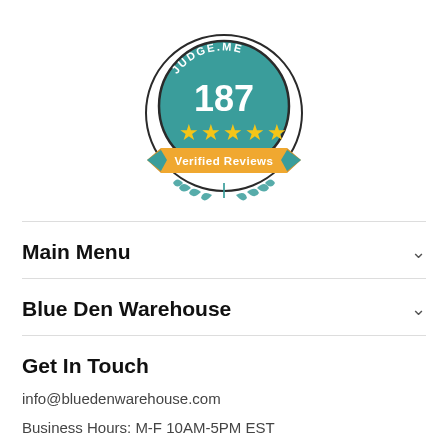[Figure (logo): Judge.me badge showing 187 five-star Verified Reviews, teal circular badge with gold stars and ribbon banner]
Main Menu
Blue Den Warehouse
Get In Touch
info@bluedenwarehouse.com
Business Hours: M-F 10AM-5PM EST